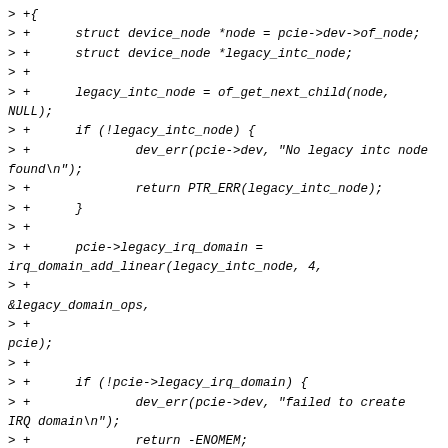> +{
> +	struct device_node *node = pcie->dev->of_node;
> +	struct device_node *legacy_intc_node;
> +
> +	legacy_intc_node = of_get_next_child(node, NULL);
> +	if (!legacy_intc_node) {
> +		dev_err(pcie->dev, "No legacy intc node found\n");
> +		return PTR_ERR(legacy_intc_node);
> +	}
> +
> +	pcie->legacy_irq_domain = irq_domain_add_linear(legacy_intc_node, 4,
> +
> +	&legacy_domain_ops,
> +
> +	pcie);
> +
> +	if (!pcie->legacy_irq_domain) {
> +		dev_err(pcie->dev, "failed to create IRQ domain\n");
> +		return -ENOMEM;
> +	}
> +
> +	nwl_pcie_init_msi_irq_domain(pcie);
> +
> +	return 0;
> +}
> +